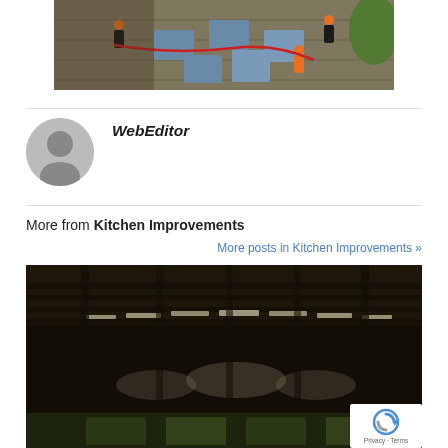[Figure (photo): Workers in orange vests on a rooftop with skylights being installed, viewed from above]
[Figure (illustration): Gray circular avatar placeholder icon showing a generic person silhouette]
WebEditor
More from Kitchen Improvements
More posts in Kitchen Improvements »
[Figure (photo): Interior photo of a building under construction showing exposed ceiling beams and light streaming through gaps, with a reCAPTCHA badge overlay in the bottom right corner]